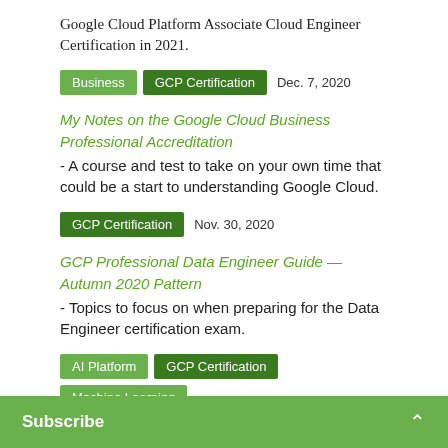Google Cloud Platform Associate Cloud Engineer Certification in 2021.
Business | GCP Certification | Dec. 7, 2020
My Notes on the Google Cloud Business Professional Accreditation - A course and test to take on your own time that could be a start to understanding Google Cloud.
GCP Certification | Nov. 30, 2020
GCP Professional Data Engineer Guide — Autumn 2020 Pattern - Topics to focus on when preparing for the Data Engineer certification exam.
AI Platform | GCP Certification | Machine Learning | TensorFlow | Nov. 30, 2020
Google Professional Machine Learning Engineer Exam: What to Expect - Sharing experience of preparing and taking...
Subscribe